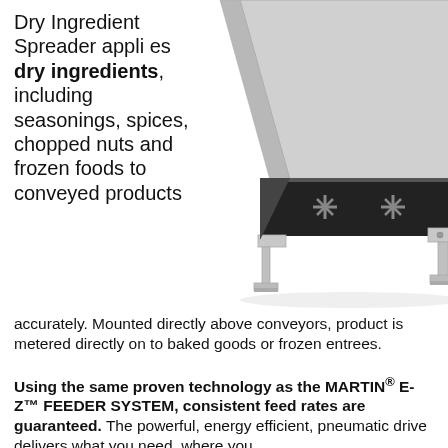Dry Ingredient Spreader applies dry ingredients, including seasonings, spices, chopped nuts and frozen foods to conveyed products accurately. Mounted directly above conveyors, product is metered directly on to baked goods or frozen entrees.
[Figure (photo): Photo of a stainless steel Dry Ingredient Spreader machine, showing the hopper/funnel mounted on a metal frame with adjustable legs, viewed from below and at an angle.]
Using the same proven technology as the MARTIN® E-Z™ FEEDER SYSTEM, consistent feed rates are guaranteed. The powerful, energy efficient, pneumatic drive delivers what you need, where you need it, when you need it, in the precise amount required.